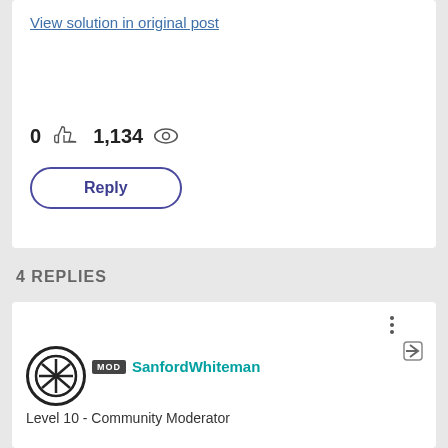View solution in original post
0 likes  1,134 views
Reply
4 REPLIES
MOD SanfordWhiteman
Level 10 - Community Moderator